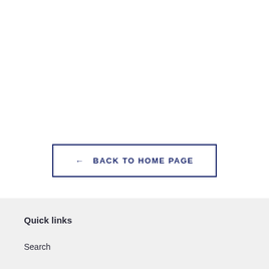[Figure (other): A button with a left arrow and text 'BACK TO HOME PAGE' in dark navy blue, with a rectangular border outline.]
Quick links
Search